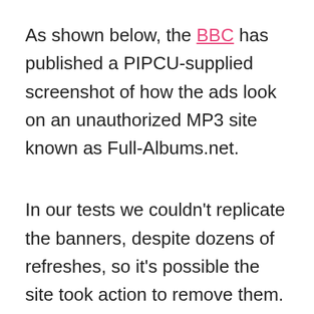As shown below, the BBC has published a PIPCU-supplied screenshot of how the ads look on an unauthorized MP3 site known as Full-Albums.net.
In our tests we couldn’t replicate the banners, despite dozens of refreshes, so it’s possible the site took action to remove them. Needless to say, we did see other advertising, and very interesting it was too.
Ironically, by clicking album links on Full-Albums we were presented with ads from BearShare, a music service that struck deals with the RIAA in the last